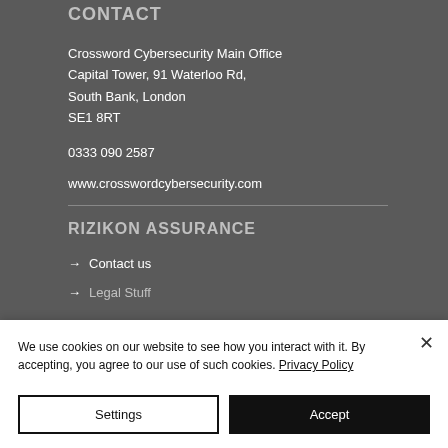CONTACT
Crossword Cybersecurity Main Office
Capital Tower, 91 Waterloo Rd,
South Bank, London
SE1 8RT
0333 090 2587
www.crosswordcybersecurity.com
RIZIKON ASSURANCE
→ Contact us
→ Legal Stuff
We use cookies on our website to see how you interact with it. By accepting, you agree to our use of such cookies. Privacy Policy